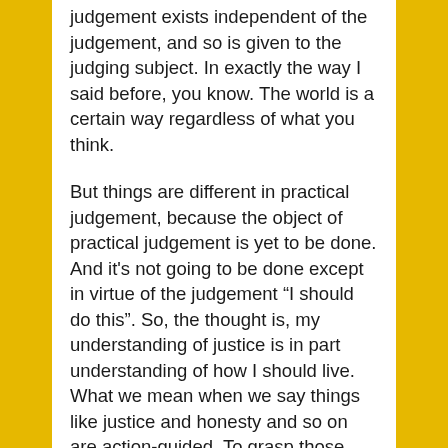judgement exists independent of the judgement, and so is given to the judging subject. In exactly the way I said before, you know. The world is a certain way regardless of what you think.
But things are different in practical judgement, because the object of practical judgement is yet to be done. And it's not going to be done except in virtue of the judgement “I should do this”. So, the thought is, my understanding of justice is in part understanding of how I should live. What we mean when we say things like justice and honesty and so on are action-guided. To grasp those concepts is to understand something of the shape of your life if it's to go well. And this is yet to be done, and it's only  you know